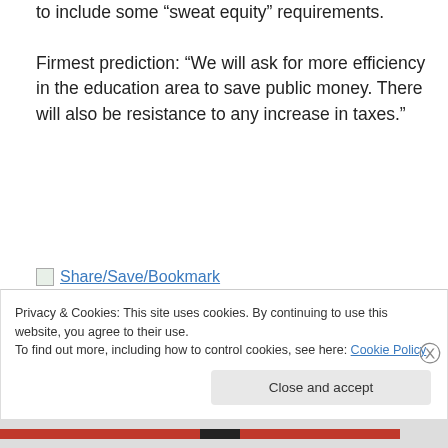to include some “sweat equity” requirements.
Firmest prediction: “We will ask for more efficiency in the education area to save public money. There will also be resistance to any increase in taxes.”
[Figure (other): Share/Save/Bookmark icon link]
Advertisements
[Figure (other): P2 advertisement - Getting your team on the same page is easy]
Privacy & Cookies: This site uses cookies. By continuing to use this website, you agree to their use.
To find out more, including how to control cookies, see here: Cookie Policy
Close and accept